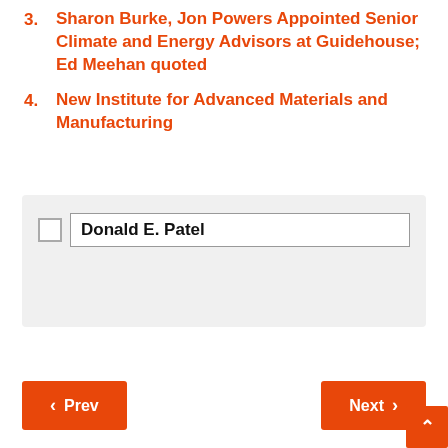3. Sharon Burke, Jon Powers Appointed Senior Climate and Energy Advisors at Guidehouse; Ed Meehan quoted
4. New Institute for Advanced Materials and Manufacturing
[Figure (screenshot): Search box UI with checkbox and text field containing 'Donald E. Patel']
< Prev
Next >